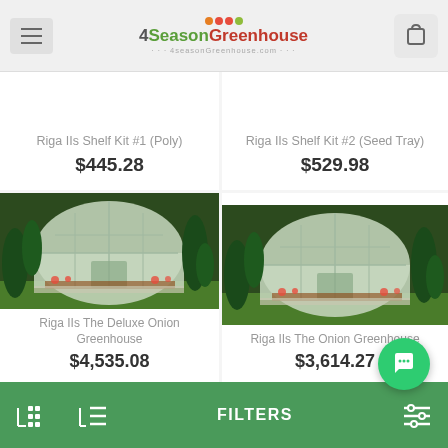4SeasonGreenhouse
Riga IIs Shelf Kit #1 (Poly)
$445.28
Riga IIs Shelf Kit #2 (Seed Tray)
$529.98
[Figure (photo): Riga IIs Deluxe Onion Greenhouse - polycarbonate dome-shaped greenhouse in garden setting]
Riga IIs The Deluxe Onion Greenhouse
$4,535.08
[Figure (photo): Riga IIs Onion Greenhouse - polycarbonate dome-shaped greenhouse in garden setting]
Riga IIs The Onion Greenhouse
$3,614.27
FILTERS